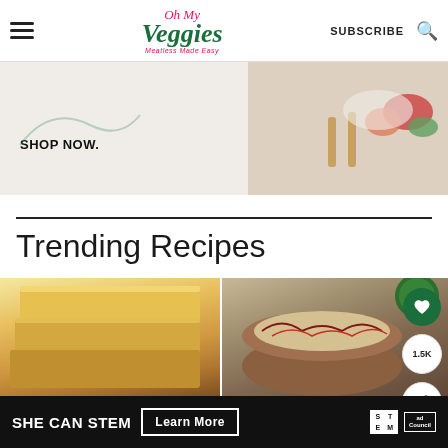Oh My Veggies — Meatless Made Easy | SUBSCRIBE
[Figure (screenshot): Ad banner with SHOP NOW text and food photography on the right]
Trending Recipes
[Figure (photo): Stack of glazed cornbread squares]
[Figure (photo): Coleslaw in a wooden bowl with green herbs, 1.5K saves]
[Figure (screenshot): SHE CAN STEM advertisement with Learn More button, STEM and Ad Council logos]